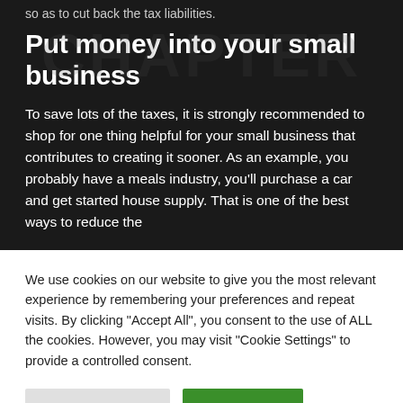so as to cut back the tax liabilities.
Put money into your small business
To save lots of the taxes, it is strongly recommended to shop for one thing helpful for your small business that contributes to creating it sooner. As an example, you probably have a meals industry, you'll purchase a car and get started house supply. That is one of the best ways to reduce the
We use cookies on our website to give you the most relevant experience by remembering your preferences and repeat visits. By clicking "Accept All", you consent to the use of ALL the cookies. However, you may visit "Cookie Settings" to provide a controlled consent.
Cookie Settings
Accept All